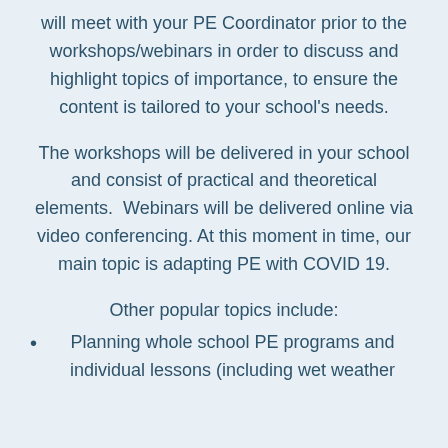will meet with your PE Coordinator prior to the workshops/webinars in order to discuss and highlight topics of importance, to ensure the content is tailored to your school's needs.
The workshops will be delivered in your school and consist of practical and theoretical elements.  Webinars will be delivered online via video conferencing. At this moment in time, our main topic is adapting PE with COVID 19.
Other popular topics include:
Planning whole school PE programs and individual lessons (including wet weather